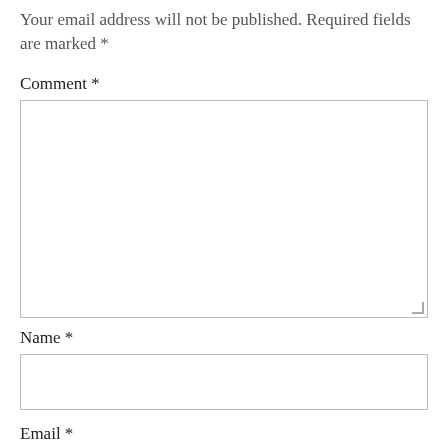Your email address will not be published. Required fields are marked *
Comment *
[Figure (other): Large multi-line text input box for comment entry with resize handle]
Name *
[Figure (other): Single-line text input box for name entry]
Email *